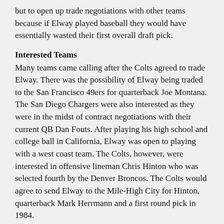but to open up trade negotiations with other teams because if Elway played baseball they would have essentially wasted their first overall draft pick.
Interested Teams
Many teams came calling after the Colts agreed to trade Elway. There was the possibility of Elway being traded to the San Francisco 49ers for quarterback Joe Montana. The San Diego Chargers were also interested as they were in the midst of contract negotiations with their current QB Dan Fouts. After playing his high school and college ball in California, Elway was open to playing with a west coast team. The Colts, however, were interested in offensive lineman Chris Hinton who was selected fourth by the Denver Broncos. The Colts would agree to send Elway to the Mile-High City for Hinton, quarterback Mark Herrmann and a first round pick in 1984.
NFL Career
Now that Elway was on the Broncos he would stay in the NFL and have one of the most incredible careers ever. His football career would start off shaky, having to be relieved by his back-up several times in his rookie year. After the